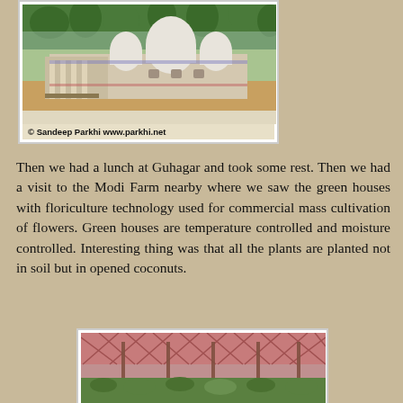[Figure (photo): Photograph of a Hindu temple with white domes, colorful decoration, and a sandy compound with trees in the background. Copyright watermark reads: © Sandeep Parkhi www.parkhi.net]
Then we had a lunch at Guhagar and took some rest. Then we had a visit to the Modi Farm nearby where we saw the green houses with floriculture technology used for commercial mass cultivation of flowers. Green houses are temperature controlled and moisture controlled. Interesting thing was that all the plants are planted not in soil but in opened coconuts.
[Figure (photo): Photograph of the interior of a greenhouse showing pink/red netting canopy over green plants arranged in rows, supported by metal poles.]